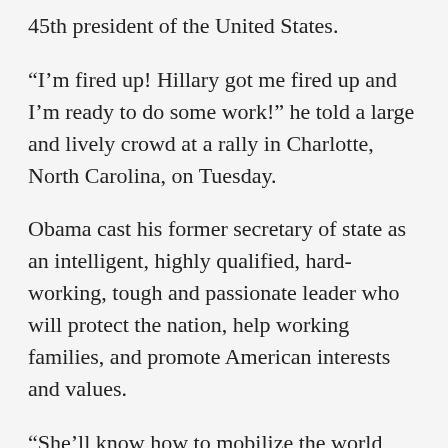45th president of the United States.
“I’m fired up! Hillary got me fired up and I’m ready to do some work!” he told a large and lively crowd at a rally in Charlotte, North Carolina, on Tuesday.
Obama cast his former secretary of state as an intelligent, highly qualified, hard-working, tough and passionate leader who will protect the nation, help working families, and promote American interests and values.
“She’ll know how to mobilize the world around the causes we believe in, that we know are right and make sure other countries pull their own weight,” he said. “That’s strength. That’s leadership. And that’s why Hillary Clinton needs to be the next president of the United States of America!” he told the cheering crowd.